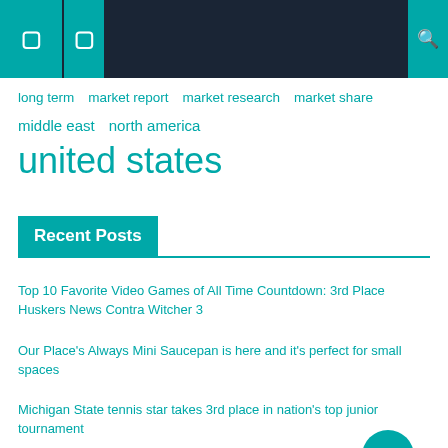Navigation header bar with icons
long term  market report  market research  market share
middle east  north america  united states
Recent Posts
Top 10 Favorite Video Games of All Time Countdown: 3rd Place Huskers News Contra Witcher 3
Our Place's Always Mini Saucepan is here and it's perfect for small spaces
Michigan State tennis star takes 3rd place in nation's top junior tournament
UH launches 'a place for you' campaign across the state